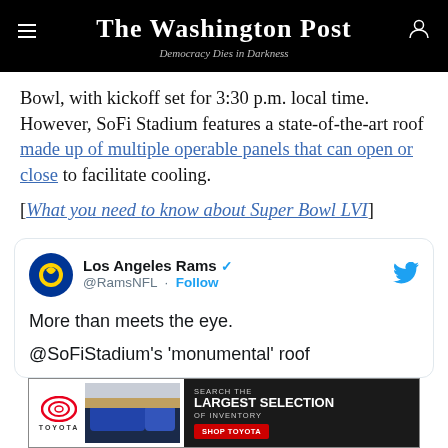The Washington Post — Democracy Dies in Darkness
Bowl, with kickoff set for 3:30 p.m. local time. However, SoFi Stadium features a state-of-the-art roof made up of multiple operable panels that can open or close to facilitate cooling.
[What you need to know about Super Bowl LVI]
[Figure (screenshot): Embedded tweet from Los Angeles Rams (@RamsNFL) with Follow button and Twitter bird icon. Tweet text: 'More than meets the eye. @SoFiStadium's monumental roof']